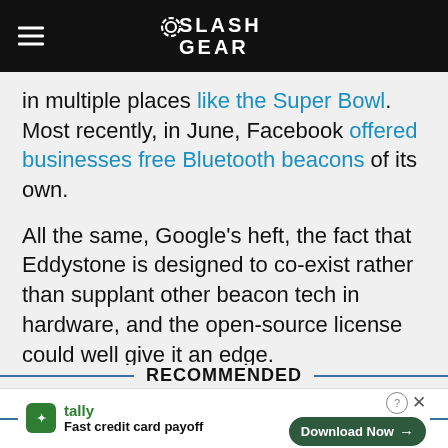SlashGear
in multiple places like the Super Bowl. Most recently, in June, Facebook offered businesses free Bluetooth beacons of its own.
All the same, Google's heft, the fact that Eddystone is designed to co-exist rather than supplant other beacon tech in hardware, and the open-source license could well give it an edge.
SOURCE Google
RECOMMENDED
[Figure (other): Tally advertisement banner: Fast credit card payoff with Download Now button]